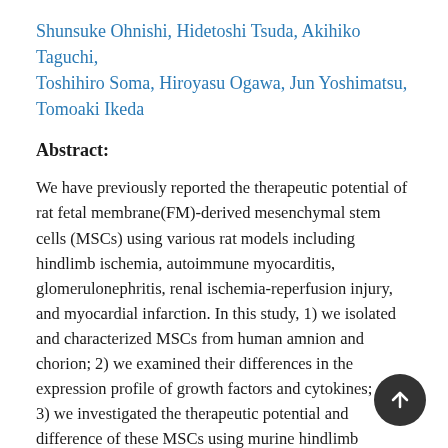Shunsuke Ohnishi, Hidetoshi Tsuda, Akihiko Taguchi, Toshihiro Soma, Hiroyasu Ogawa, Jun Yoshimatsu, Tomoaki Ikeda
Abstract:
We have previously reported the therapeutic potential of rat fetal membrane(FM)-derived mesenchymal stem cells (MSCs) using various rat models including hindlimb ischemia, autoimmune myocarditis, glomerulonephritis, renal ischemia-reperfusion injury, and myocardial infarction. In this study, 1) we isolated and characterized MSCs from human amnion and chorion; 2) we examined their differences in the expression profile of growth factors and cytokines; and 3) we investigated the therapeutic potential and difference of these MSCs using murine hindlimb ischemia and acute graft-versus-host disease (GVHD)